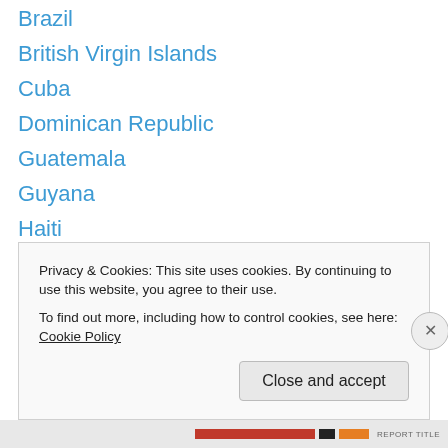Brazil
British Virgin Islands
Cuba
Dominican Republic
Guatemala
Guyana
Haiti
Indonesia
Jamaica
Martinique
The Netherlands
Nicaragua
Panama
Peru
Privacy & Cookies: This site uses cookies. By continuing to use this website, you agree to their use.
To find out more, including how to control cookies, see here: Cookie Policy
Close and accept